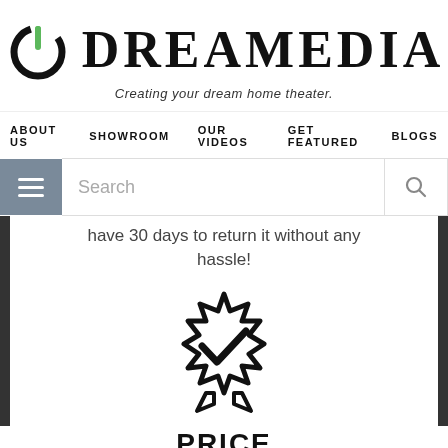[Figure (logo): Dreamedia logo: power button icon with green accent and bold serif text DREAMEDIA]
DREAMEDIA
Creating your dream home theater.
ABOUT US   SHOWROOM   OUR VIDEOS   GET FEATURED   BLOGS
Search
have 30 days to return it without any hassle!
[Figure (illustration): Badge/medal icon with checkmark and ribbon, black outline style]
PRICE